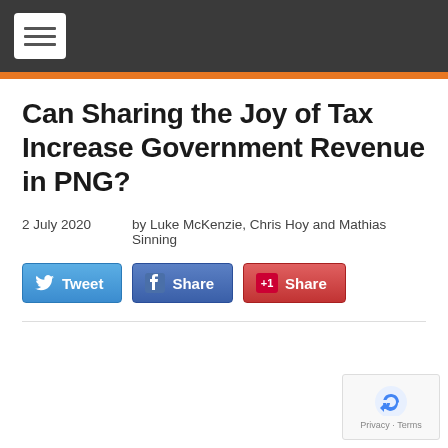[Navigation menu icon]
Can Sharing the Joy of Tax Increase Government Revenue in PNG?
2 July 2020   by Luke McKenzie, Chris Hoy and Mathias Sinning
[Figure (other): Social share buttons: Tweet (Twitter), Share (Facebook), Share (Google+1)]